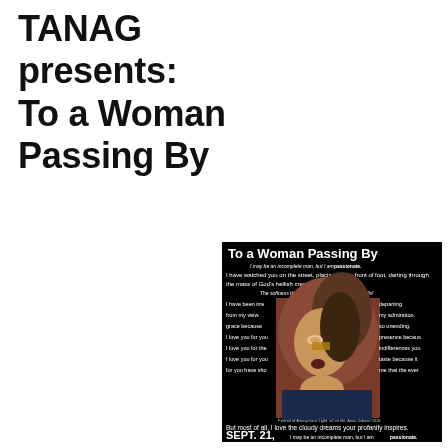TANAG presents: To a Woman Passing By
[Figure (illustration): Event poster with black background featuring a painting of a woman's portrait with poem text overlay, showing the title 'To a Woman Passing By', poem verses, and event dates SEPT. 21 and SEPT. 28, 2018]